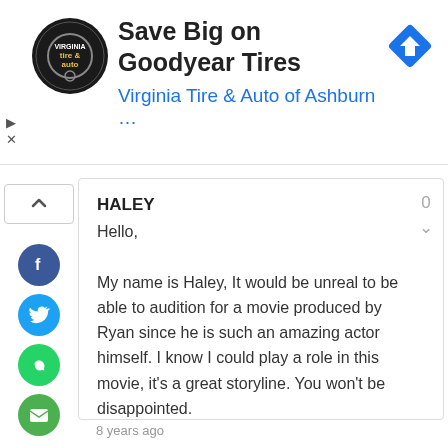[Figure (screenshot): Advertisement banner for Virginia Tire & Auto of Ashburn featuring a circular logo, the headline 'Save Big on Goodyear Tires', and a blue navigation arrow icon]
HALEY
Hello,

My name is Haley, It would be unreal to be able to audition for a movie produced by Ryan since he is such an amazing actor himself. I know I could play a role in this movie, it's a great storyline. You won't be disappointed.

Thanks,
8 years ago